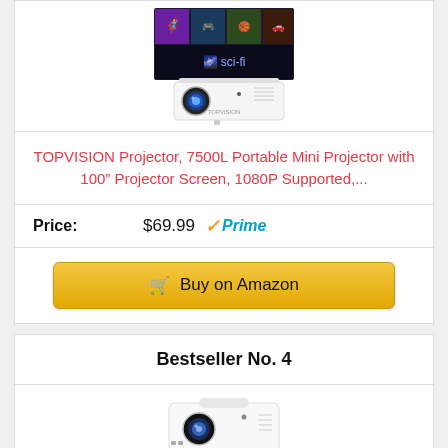[Figure (photo): TOPVISION white mini projector with screen showing movies]
TOPVISION Projector, 7500L Portable Mini Projector with 100” Projector Screen, 1080P Supported,...
Price: $69.99 ✓Prime
Buy on Amazon
Bestseller No. 4
[Figure (photo): White mini projector product photo]